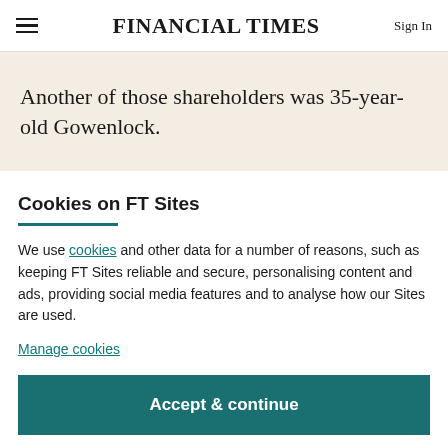FINANCIAL TIMES | Sign In
Another of those shareholders was 35-year-old Gowenlock.
Cookies on FT Sites
We use cookies and other data for a number of reasons, such as keeping FT Sites reliable and secure, personalising content and ads, providing social media features and to analyse how our Sites are used.
Manage cookies
Accept & continue